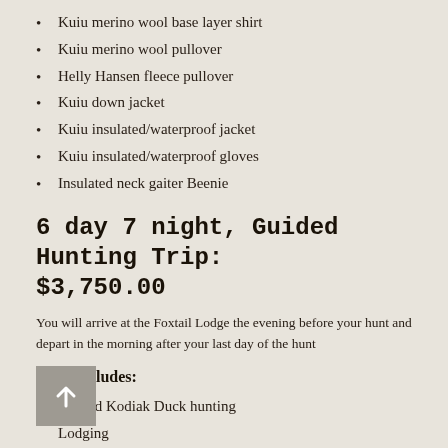Kuiu merino wool base layer shirt
Kuiu merino wool pullover
Helly Hansen fleece pullover
Kuiu down jacket
Kuiu insulated/waterproof jacket
Kuiu insulated/waterproof gloves
Insulated neck gaiter Beenie
6 day 7 night, Guided Hunting Trip: $3,750.00
You will arrive at the Foxtail Lodge the evening before your hunt and depart in the morning after your last day of the hunt
Price includes:
Guided Kodiak Duck hunting
Lodging
Meals